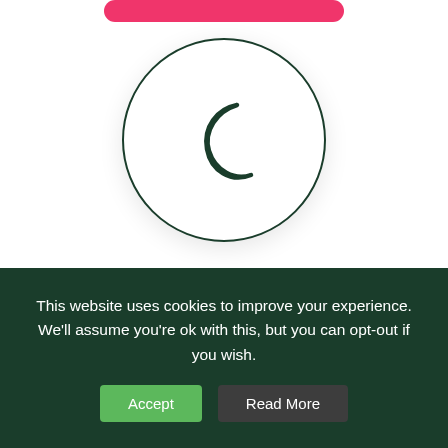[Figure (illustration): Pink/red rounded rectangle button at the top of the page (partial, cropped)]
[Figure (illustration): Circle with dark green crescent moon icon representing Overnight Care service]
Overnight Care
[Figure (illustration): Pink READ MORE button with rounded corners]
[Figure (illustration): Partial circle visible at the bottom of the white area, indicating another card below]
This website uses cookies to improve your experience. We'll assume you're ok with this, but you can opt-out if you wish.
Accept
Read More